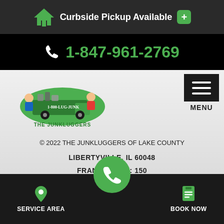Curbside Pickup Available
1-847-961-2769
[Figure (logo): The Junkluggers logo with cartoon characters and green truck]
MENU
© 2022 THE JUNKLUGGERS OF LAKE COUNTY
LIBERTYVILLE, IL 60048
FRANCHISE ID: 150
SERVICE AREA
BOOK NOW